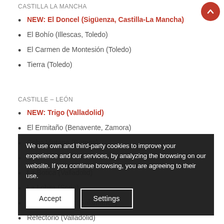CASTILLA LA MANCHA
NEW: El Doncel (Sigüenza, Castilla-La Mancha)
El Bohío (Illescas, Toledo)
El Carmen de Montesión (Toledo)
Tierra (Toledo)
CASTILLE – LEÓN
NEW: Trigo (Valladolid)
El Ermitaño (Benavente, Zamora)
Cobo Vintage (Burgos)
Co...
La Botica (Valladolid)
La Lobita (Soria)
Victor Gutiérrez (Salamanca)
Refectorio (Valladolid)
Villena (Segovia)
We use own and third-party cookies to improve your experience and our services, by analyzing the browsing on our website. If you continue browsing, you are agreeing to their use.